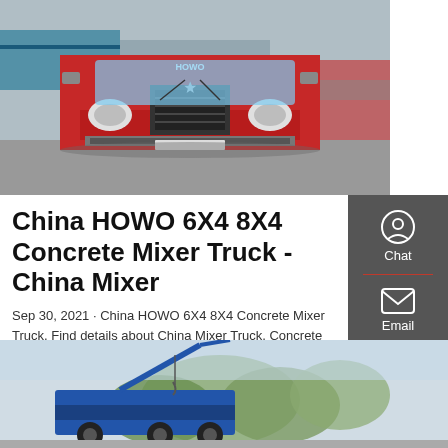[Figure (photo): Front view of a red HOWO truck parked in a lot with other trucks and shipping containers visible in the background]
China HOWO 6X4 8X4 Concrete Mixer Truck - China Mixer
Sep 30, 2021 · China HOWO 6X4 8X4 Concrete Mixer Truck, Find details about China Mixer Truck, Concrete Mixer Truck from HOWO 6X4 8X4 Concrete Mixer Truck - ...
[Figure (photo): Partial view of a blue crane or construction vehicle against a backdrop of trees and sky]